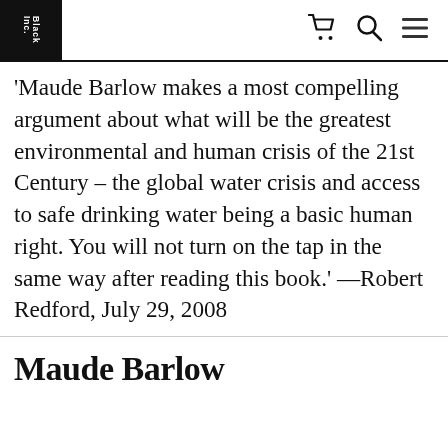Black Inc. [logo with cart, search, menu icons]
Maude Barlow makes a most compelling argument about what will be the greatest environmental and human crisis of the 21st Century – the global water crisis and access to safe drinking water being a basic human right. You will not turn on the tap in the same way after reading this book.' —Robert Redford, July 29, 2008